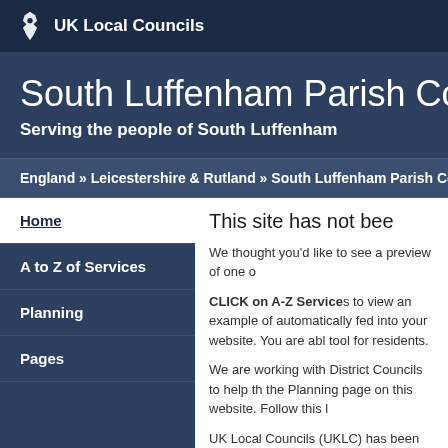UK Local Councils
South Luffenham Parish Council
Serving the people of South Luffenham
England » Leicestershire & Rutland » South Luffenham Parish Council
Home
A to Z of Services
Planning
Pages
This site has not bee
We thought you'd like to see a preview of one o
CLICK on A-Z Services to view an example of automatically fed into your website. You are ab tool for residents.
We are working with District Councils to help th the Planning page on this website. Follow this l
UK Local Councils (UKLC) has been inspired b